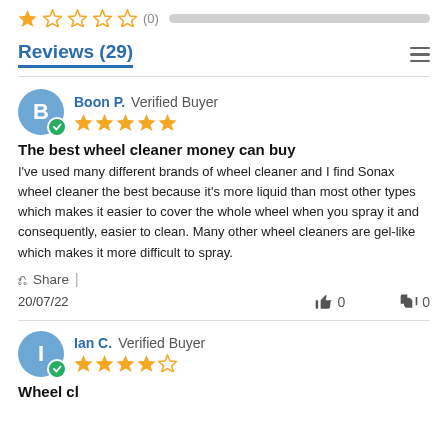[Figure (other): 1-star rating bar with (0) count and grey progress bar]
Reviews (29)
Boon P.  Verified Buyer — 5 stars
The best wheel cleaner money can buy
I've used many different brands of wheel cleaner and I find Sonax wheel cleaner the best because it's more liquid than most other types which makes it easier to cover the whole wheel when you spray it and consequently, easier to clean. Many other wheel cleaners are gel-like which makes it more difficult to spray.
Share | 20/07/22  👍 0  👎 0
Ian C.  Verified Buyer — 4.5 stars
Wheel cl...